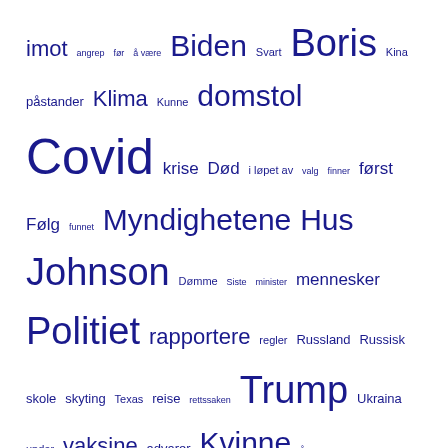[Figure (other): Tag cloud with Norwegian words of varying sizes, displayed as hyperlinks. Words include: imot, angrep, før, å være, Biden, Svart, Boris, Kina, påstander, Klima, Kunne, domstol, Covid, krise, Død, i løpet av, valg, finner, først, Følg, funnet, Myndighetene, Hus, Johnson, Dømme, Siste, minister, mennesker, Politiet, rapportere, regler, Russland, Russisk, skole, skyting, Texas, reise, rettssaken, Trump, Ukraina, under, vaksine, advarer, Kvinne, år]
SISTE INNLEGG
Det ledige hotellet i New York som inspirerte «Dirty Dancing» lider av ødeleggende brann
Familien avgjør søksmål på 18 millioner dollar etter at en funksjonshemmet sønn med Downs syndrom døde på skolen
Høyskolestudent vinner universitetsplass etter å ha byttet fra sminke til rettsmedisin
Frankrikes mangel på dijonsennep etterlater sur smak
Røndor vil «tømme stolen» Liz Truss mens hun avviser landlige